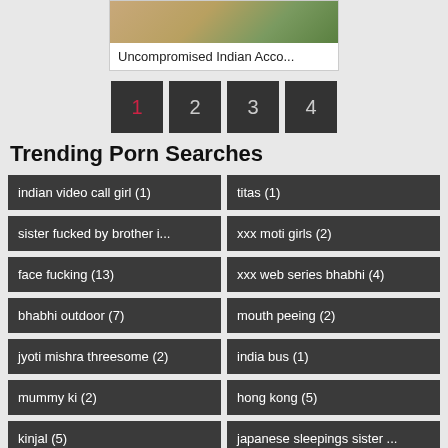[Figure (photo): Thumbnail image partially visible at top]
Uncompromised Indian Acco...
1 2 3 4 (pagination buttons)
Trending Porn Searches
indian video call girl (1)
titas (1)
sister fucked by brother i...
xxx moti girls (2)
face fucking (13)
xxx web series bhabhi (4)
bhabhi outdoor (7)
mouth peeing (2)
jyoti mishra threesome (2)
india bus (1)
mummy ki (2)
hong kong (5)
kinjal (5)
japanese sleepings sister ...